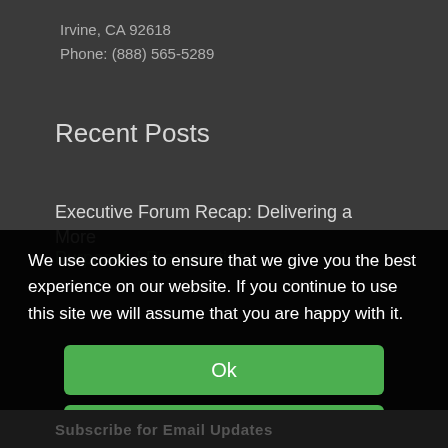Irvine, CA 92618
Phone: (888) 565-5289
Recent Posts
Executive Forum Recap: Delivering a More Purposeful Presentation
We use cookies to ensure that we give you the best experience on our website. If you continue to use this site we will assume that you are happy with it.
Ok
Privacy Policy
Subscribe for Email Updates